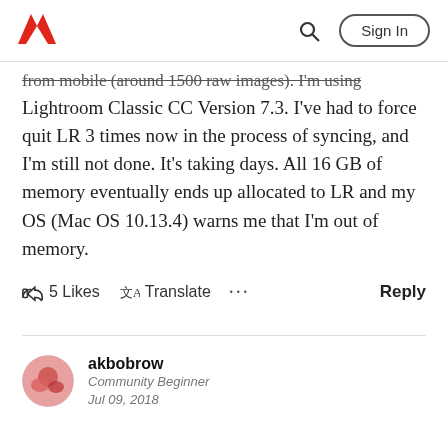Adobe — Sign In
from mobile (around 1500 raw images). I'm using Lightroom Classic CC Version 7.3. I've had to force quit LR 3 times now in the process of syncing, and I'm still not done. It's taking days. All 16 GB of memory eventually ends up allocated to LR and my OS (Mac OS 10.13.4) warns me that I'm out of memory.
5 Likes   Translate   ...   Reply
akbobrow
Community Beginner
Jul 09, 2018